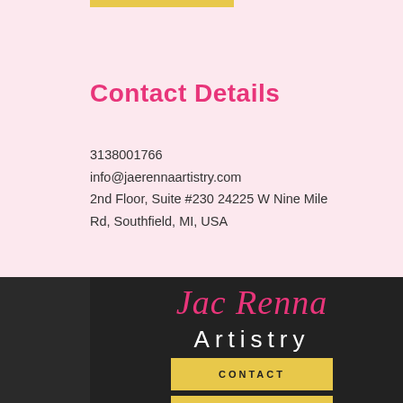Contact Details
3138001766
info@jaerennaartistry.com
2nd Floor, Suite #230 24225 W Nine Mile Rd, Southfield, MI, USA
[Figure (logo): Jae Renna Artistry logo in script pink font with 'Artistry' in white sans-serif below, on dark background]
CONTACT
[Figure (other): Social media icons: TikTok, Facebook, Instagram on yellow bar]